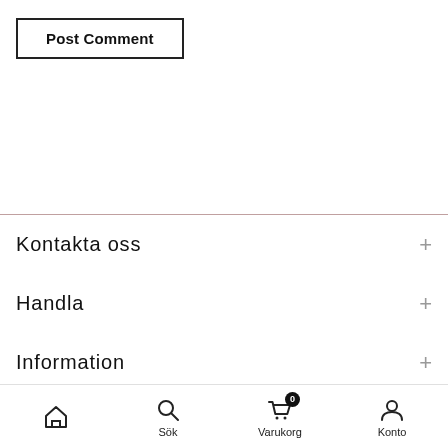[Figure (screenshot): Post Comment button with bold text inside a rectangular border]
Kontakta oss
Handla
Information
Sök  Varukorg 0  Konto